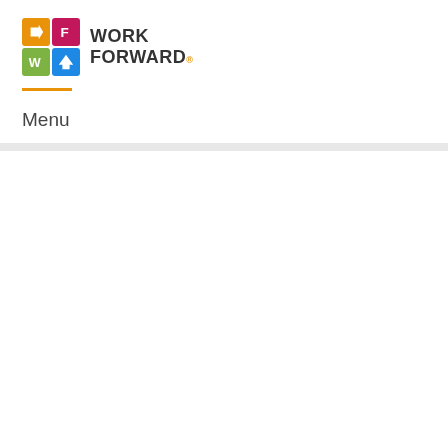[Figure (logo): Work Forward logo with 2x2 colored icon grid (orange arrow, magenta F, green W, blue arrow) and text WORK FORWARD in bold]
Menu